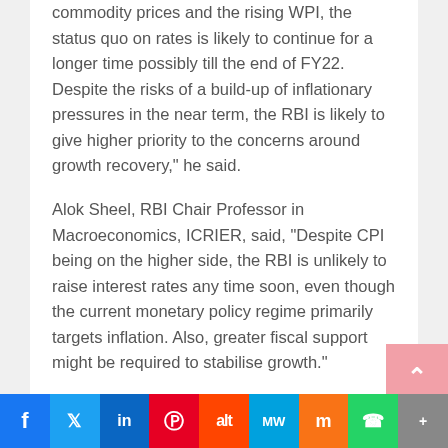commodity prices and the rising WPI, the status quo on rates is likely to continue for a longer time possibly till the end of FY22. Despite the risks of a build-up of inflationary pressures in the near term, the RBI is likely to give higher priority to the concerns around growth recovery," he said.
Alok Sheel, RBI Chair Professor in Macroeconomics, ICRIER, said, "Despite CPI being on the higher side, the RBI is unlikely to raise interest rates any time soon, even though the current monetary policy regime primarily targets inflation. Also, greater fiscal support might be required to stabilise growth."
Tags: GDP, Monetary Policy Committee, RBI, Shaktikanta Das
New pension rules are a gag order, say rattled ex-security, intel officers